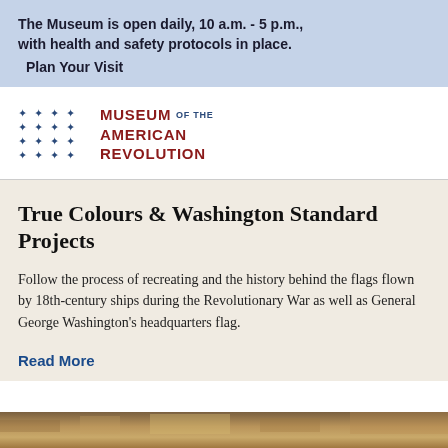The Museum is open daily, 10 a.m. - 5 p.m., with health and safety protocols in place. Plan Your Visit
[Figure (logo): Museum of the American Revolution logo with star pattern grid and red text]
True Colours & Washington Standard Projects
Follow the process of recreating and the history behind the flags flown by 18th-century ships during the Revolutionary War as well as General George Washington's headquarters flag.
Read More
[Figure (photo): Partial view of a historical artifact or flag, golden/brown tones, cropped at bottom of page]